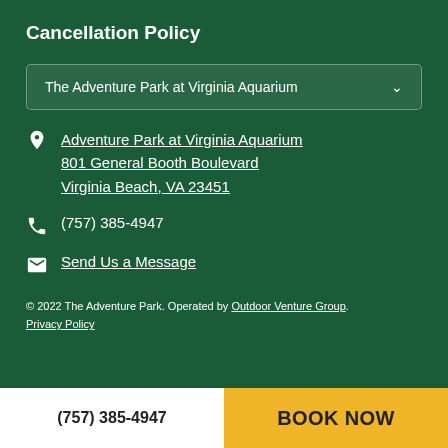Cancellation Policy
The Adventure Park at Virginia Aquarium
Adventure Park at Virginia Aquarium 801 General Booth Boulevard Virginia Beach, VA 23451
(757) 385-4947
Send Us a Message
© 2022 The Adventure Park. Operated by Outdoor Venture Group.
Privacy Policy
(757) 385-4947
BOOK NOW